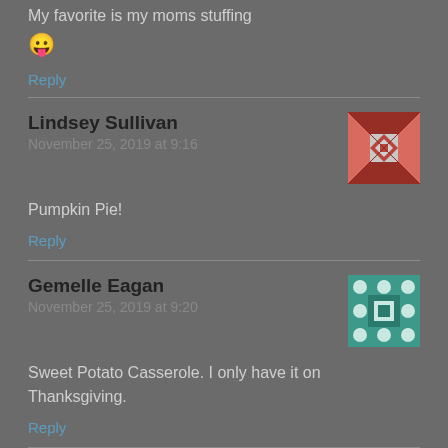My favorite is my moms stuffing 😛
Reply
Lindsey Sullivan
November 25, 2019 at 9:16
Pumpkin Pie!
Reply
Gemelle Eagan
November 25, 2019 at 9:20
Sweet Potato Casserole. I only have it on Thanksgiving.
Reply
Ryan C